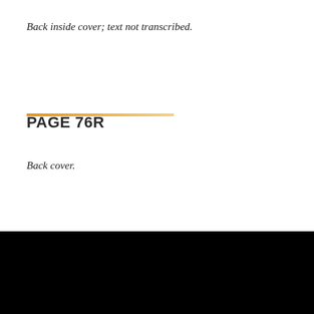Back inside cover; text not transcribed.
PAGE 76R
Back cover.
DARTMOUTH LIBRARY
Baker-Berry Library